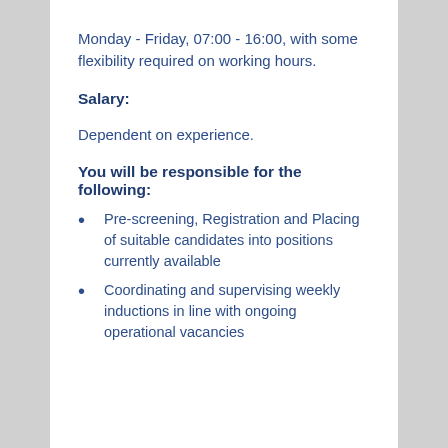Monday - Friday, 07:00 - 16:00, with some flexibility required on working hours.
Salary:
Dependent on experience.
You will be responsible for the following:
Pre-screening, Registration and Placing of suitable candidates into positions currently available
Coordinating and supervising weekly inductions in line with ongoing operational vacancies